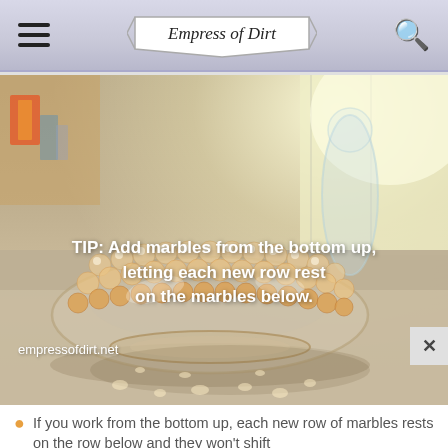Empress of Dirt
[Figure (photo): A glass bowl filled with clear and amber/orange marbles sitting on a gray tabletop surface, with overlaid white text reading: TIP: Add marbles from the bottom up, letting each new row rest on the marbles below. Watermark reads empressofdirt.net]
If you work from the bottom up, each new row of marbles rests on the row below and they won't shift